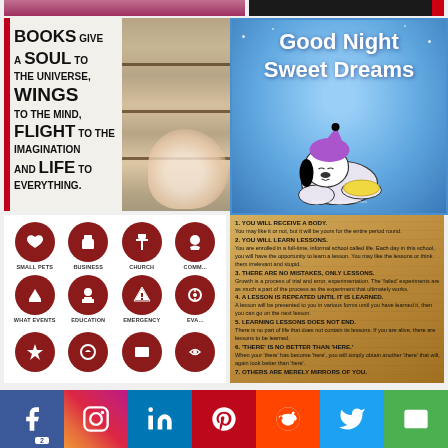[Figure (illustration): Books quote image with Snoopy reading: BOOKS give a SOUL to THE UNIVERSE, WINGS TO THE MIND, FLIGHT TO THE IMAGINATION AND LIFE TO EVERYTHING. Background shows a bookshelf. Red left border accent.]
[Figure (illustration): Good Night Sweet Dreams card with Snoopy character in pajamas on blue sparkly background]
[Figure (infographic): Grid of dark red circular icons with labels: SMALL PETS, BUSINESS, CHURCH, (COMM...), (WHAT EVENTS), EDUCATION, EMERGENCY, (EVA...), and more rows]
[Figure (illustration): List of life rules on aged parchment background: 1. YOU WILL RECEIVE A BODY. 2. YOU WILL LEARN LESSONS. 3. THERE ARE NO MISTAKES, ONLY LESSONS. 4. A LESSON IS REPEATED UNTIL IT IS LEARNED. 5. LEARNING LESSONS DOES NOT END. 6. 'THERE' IS NO BETTER THAN 'HERE'. 7. OTHERS ARE MERELY MIRRORS OF YOU.]
[Figure (infographic): Social media sharing bar at bottom with Facebook (badge: 2), Instagram, LinkedIn, Pinterest, Reddit, Twitter, Email buttons]